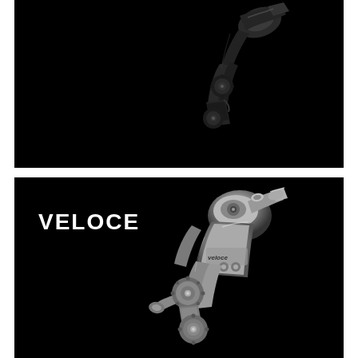[Figure (photo): Black rear bicycle derailleur (dark/black finish) photographed against a black background, tilted at an angle showing the mechanism detail]
[Figure (photo): Campagnolo Veloce rear bicycle derailleur (silver/grey finish) photographed against a black background, with VELOCE text label in white bold font on the left side]